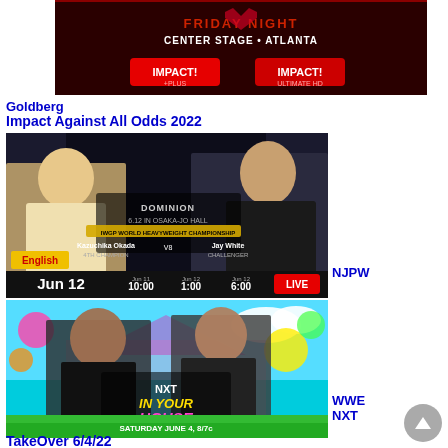[Figure (photo): Impact Wrestling Friday Night promotional banner with IMPACT Plus and IMPACT logos, Center Stage Atlanta]
Goldberg
Impact Against All Odds 2022
[Figure (photo): NJPW Dominion 6.12 in Osaka-Jo Hall promotional image showing Kazuchika Okada vs Jay White for IWGP World Heavyweight Championship, Jun 12, with English commentary times listed]
NJPW
[Figure (photo): WWE NXT In Your House promotional image showing two wrestlers, Saturday June 4, 8/7c, streaming on Peacock]
WWE NXT
TakeOver 6/4/22